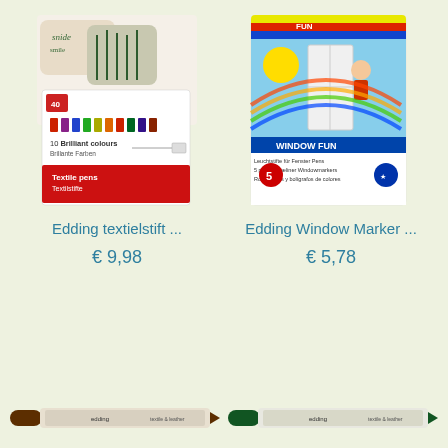[Figure (photo): Product photo of Edding textiel marker set in packaging]
[Figure (photo): Product photo of Edding Window Fun marker set in packaging]
Edding textielstift ...
Edding Window Marker ...
€ 9,98
€ 5,78
[Figure (photo): Two brown/dark red Edding markers shown horizontally]
[Figure (photo): Two green Edding markers shown horizontally]